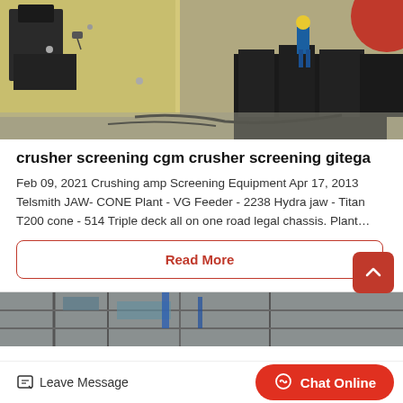[Figure (photo): Industrial crushing and screening machinery in a factory floor, with large metal components and a worker in a yellow hard hat visible in the background]
crusher screening cgm crusher screening gitega
Feb 09, 2021 Crushing amp Screening Equipment Apr 17, 2013 Telsmith JAW- CONE Plant - VG Feeder - 2238 Hydra jaw - Titan T200 cone - 514 Triple deck all on one road legal chassis. Plant…
Read More
[Figure (photo): Industrial building interior with steel framework and scaffolding, partial view]
Leave Message
Chat Online